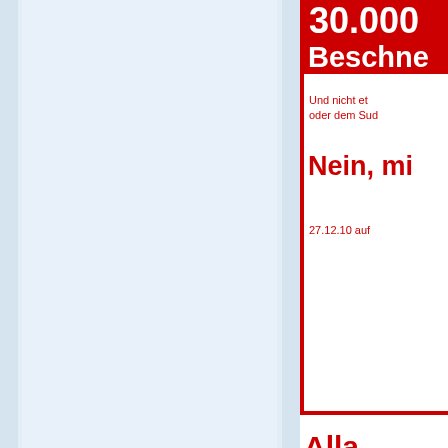[Figure (other): Left background panel with light blue/grey gradient columns]
30.000
Beschne
Und nicht et... oder dem Sud...
Nein, mi
27.12.10  auf
Alla
Ehrenmorde & weibl... Statistic facts which s... http://www.brusselsjo... http://www.pi-news.n... http://www.pi-news.n...